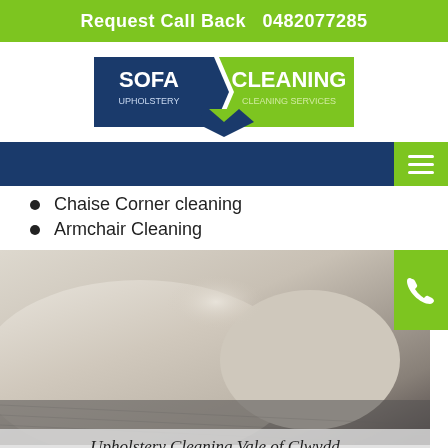Request Call Back   0482077285
[Figure (logo): Sofa Cleaning Upholstery Cleaning Services logo with dark blue banner shapes and green banner]
[Figure (other): Navigation bar with dark blue background and green hamburger menu button on right]
Chaise Corner cleaning
Armchair Cleaning
[Figure (photo): Close-up photo of beige/cream upholstered sofa on grey carpet, with green phone button on right and caption 'Upholstery Cleaning Vale of Clwydd']
Upholstery Cleaning Vale of Clwydd
These are some of the exclusive services that we provide to our clients. There is an extensive range of other services as well that we provide under the umbrella of